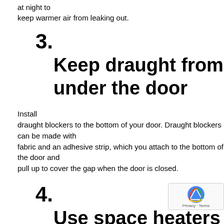at night to keep warmer air from leaking out.
3. Keep draught from under the door
Install draught blockers to the bottom of your door. Draught blockers can be made with fabric and an adhesive strip, which you attach to the bottom of the door and pull up to cover the gap when the door is closed.
4. Use space heaters wis